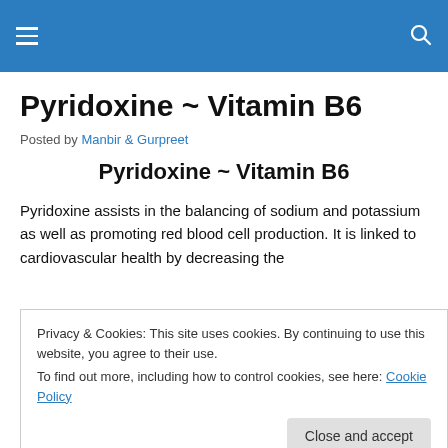☰ [menu icon] [search icon]
Pyridoxine ~ Vitamin B6
Posted by Manbir & Gurpreet
Pyridoxine ~ Vitamin B6
Pyridoxine assists in the balancing of sodium and potassium as well as promoting red blood cell production. It is linked to cardiovascular health by decreasing the
Privacy & Cookies: This site uses cookies. By continuing to use this website, you agree to their use.
To find out more, including how to control cookies, see here: Cookie Policy
Close and accept